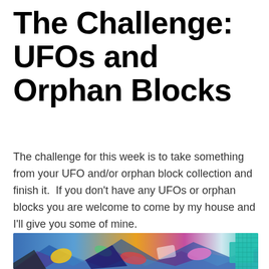The Challenge: UFOs and Orphan Blocks
The challenge for this week is to take something from your UFO and/or orphan block collection and finish it.  If you don't have any UFOs or orphan blocks you are welcome to come by my house and I'll give you some of mine.
[Figure (photo): Colorful pile of fabric pieces and quilt blocks in various patterns and colors including blue, orange, yellow, pink, and green, with a teal cutting mat visible in the background.]